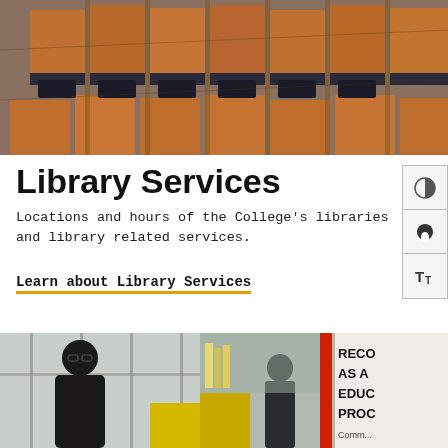[Figure (photo): Overhead view of library study carrels with wooden dividers and black chairs arranged in rows]
Library Services
Locations and hours of the College's libraries and library related services.
Learn about Library Services
[Figure (photo): Library entrance or service desk area with people and signage reading 'RECOGNIZED AS AN EDUCATIONAL PROCESS']